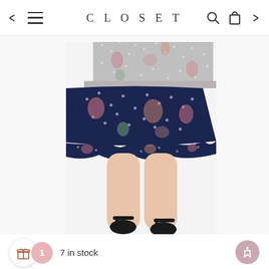CLOSET
[Figure (photo): Fashion product photo showing lower half of female model wearing a floral and polka dot patterned skirt dress with black strappy heeled sandals against a white background]
● ○ ○ ○
7 in stock